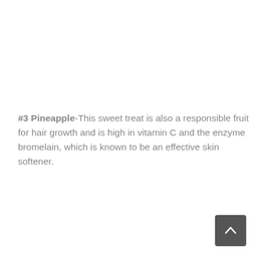#3 Pineapple-This sweet treat is also a responsible fruit for hair growth and is high in vitamin C and the enzyme bromelain, which is known to be an effective skin softener.
[Figure (other): A dark grey rounded-square button with a white upward-pointing chevron/arrow icon, used as a back-to-top navigation button.]